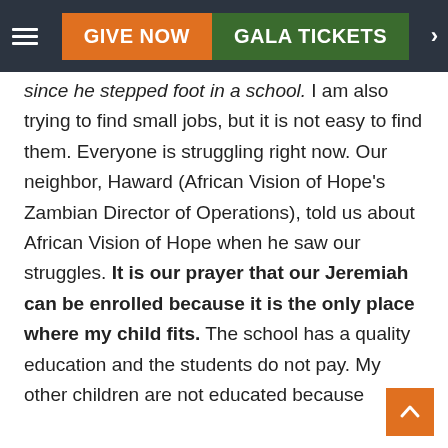GIVE NOW | GALA TICKETS
since he stepped foot in a school. I am also trying to find small jobs, but it is not easy to find them. Everyone is struggling right now. Our neighbor, Haward (African Vision of Hope's Zambian Director of Operations), told us about African Vision of Hope when he saw our struggles. It is our prayer that our Jeremiah can be enrolled because it is the only place where my child fits. The school has a quality education and the students do not pay. My other children are not educated because